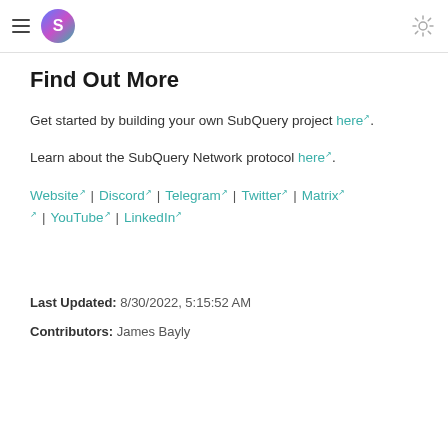SubQuery (hamburger menu + logo + sun icon)
Find Out More
Get started by building your own SubQuery project here .
Learn about the SubQuery Network protocol here .
Website | Discord | Telegram | Twitter | Matrix | YouTube | LinkedIn
Last Updated: 8/30/2022, 5:15:52 AM
Contributors: James Bayly